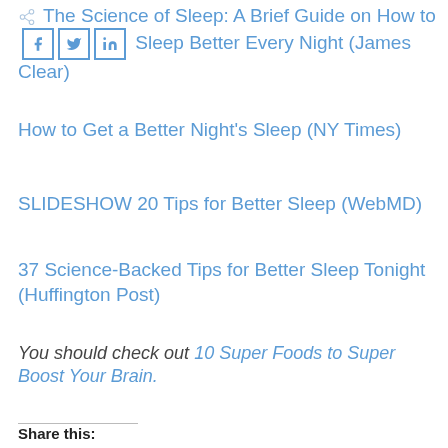The Science of Sleep: A Brief Guide on How to Sleep Better Every Night (James Clear)
How to Get a Better Night's Sleep (NY Times)
SLIDESHOW 20 Tips for Better Sleep (WebMD)
37 Science-Backed Tips for Better Sleep Tonight (Huffington Post)
You should check out 10 Super Foods to Super Boost Your Brain.
Share this: